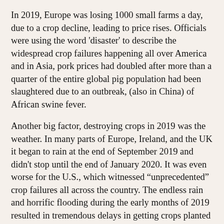In 2019, Europe was losing 1000 small farms a day, due to a crop decline, leading to price rises. Officials were using the word 'disaster' to describe the widespread crop failures happening all over America and in Asia, pork prices had doubled after more than a quarter of the entire global pig population had been slaughtered due to an outbreak, (also in China) of African swine fever.
Another big factor, destroying crops in 2019 was the weather. In many parts of Europe, Ireland, and the UK it began to rain at the end of September 2019 and didn't stop until the end of January 2020. It was even worse for the U.S., which witnessed “unprecedented” crop failures all across the country. The endless rain and horrific flooding during the early months of 2019 resulted in tremendous delays in getting crops planted in many areas, and then snow and bitterly cold temperatures turned the harvest season into a complete and utter nightmare all over the country, resulting in their worst agricultural year in history.